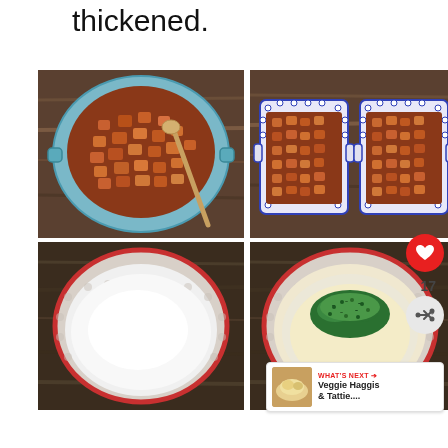thickened.
[Figure (photo): Overhead view of a blue Dutch oven filled with sautéed diced vegetables/chicken in a reddish-brown sauce, with a wooden spoon, on a wooden surface]
[Figure (photo): Overhead view of two blue and white polka-dot ceramic baking dishes filled with the same sauced chicken and vegetable mixture, side by side on a wooden surface]
[Figure (photo): Overhead view of a white ceramic bowl with red rim containing plain white flour or sugar on a wooden surface]
[Figure (photo): Overhead view of the same red-rimmed bowl now containing butter/cream mixture with chopped green herbs piled on top]